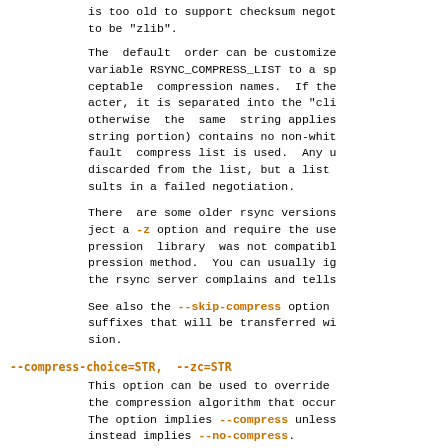is too old to support checksum negotiation, to be "zlib".
The default order can be customized by setting the environment variable RSYNC_COMPRESS_LIST to a space-separated list of acceptable compression names. If the string contains a '&' character, it is separated into the "client" and "server" lists; otherwise the same string applies to both. If either the client or server string portion) contains no non-whitespace characters, the default compress list is used. Any unknown compression names are discarded from the list, but a list with no valid names results in a failed negotiation.
There are some older rsync versions that would reject a -z option and require the user to specify --compress-level=9 if the remote's compression library was not compatible with rsync's default compression method. You can usually ignore this message unless the rsync server complains and tells you to.
See also the --skip-compress option for the list of file suffixes that will be transferred without compression.
--compress-choice=STR, --zc=STR
This option can be used to override the automatic negotiation of the compression algorithm that occurs when --compress is used. The option implies --compress unless --compress-level=0 is also specified, in which case it instead implies --no-compress.